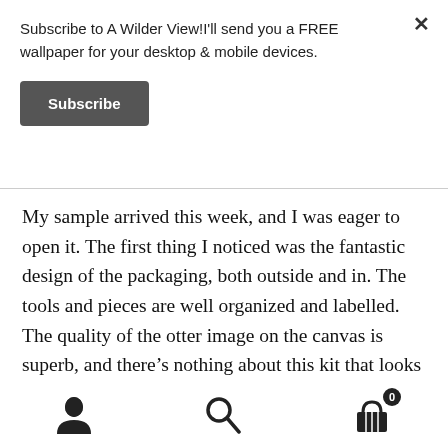Subscribe to A Wilder View!I'll send you a FREE wallpaper for your desktop & mobile devices.
Subscribe
My sample arrived this week, and I was eager to open it. The first thing I noticed was the fantastic design of the packaging, both outside and in. The tools and pieces are well organized and labelled. The quality of the otter image on the canvas is superb, and there's nothing about this kit that looks cheap and thrown together. At 23″X17″, it’s a fairly large image.
[Figure (other): Footer navigation bar with user icon, search icon, and shopping cart icon with badge showing 0]